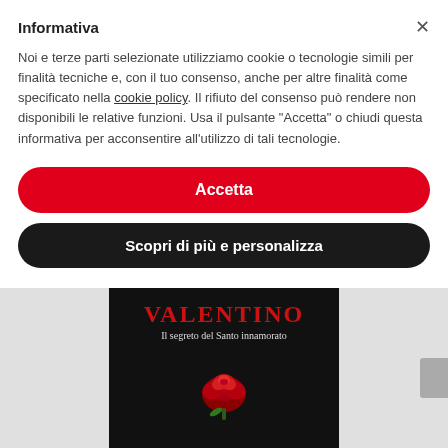Informativa
Noi e terze parti selezionate utilizziamo cookie o tecnologie simili per finalità tecniche e, con il tuo consenso, anche per altre finalità come specificato nella cookie policy. Il rifiuto del consenso può rendere non disponibili le relative funzioni. Usa il pulsante “Accetta” o chiudi questa informativa per acconsentire all’utilizzo di tali tecnologie.
Accetta
Scopri di più e personalizza
[Figure (illustration): Book cover for 'VALENTINO - Il segreto del Santo innamorato' showing title text in red on dark background with a red rose in the lower portion]